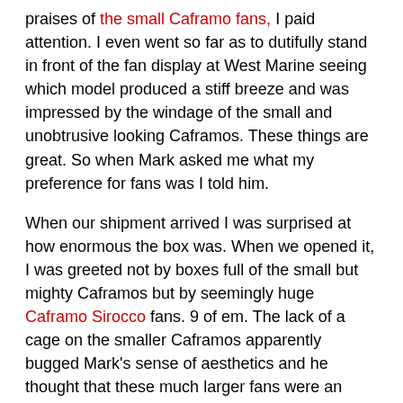praises of the small Caframo fans, I paid attention. I even went so far as to dutifully stand in front of the fan display at West Marine seeing which model produced a stiff breeze and was impressed by the windage of the small and unobtrusive looking Caframos. These things are great. So when Mark asked me what my preference for fans was I told him.
When our shipment arrived I was surprised at how enormous the box was. When we opened it, I was greeted not by boxes full of the small but mighty Caframos but by seemingly huge Caframo Sirocco fans. 9 of em. The lack of a cage on the smaller Caframos apparently bugged Mark's sense of aesthetics and he thought that these much larger fans were an even better choice. I know from my trials at West Marine that these were in fact good fans but man oh man are they big. HUGE. I suppose the good news is that if we ever encounter no wind we can just open the hatches, use the gimbal feature to point the fans at the sail and begin to sail with the gale force winds generated in our saloon. I also no longer need to worry about the decor in the boat, our decor theme is now fans.